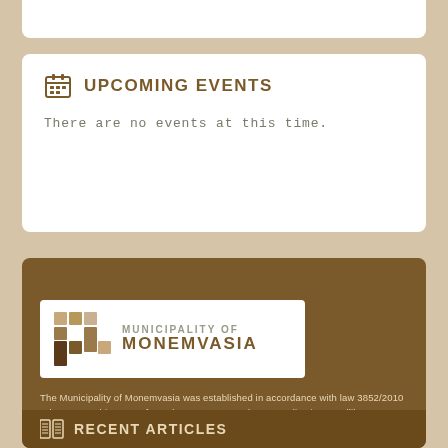UPCOMING EVENTS
There are no events at this time.
[Figure (logo): Municipality of Monemvasia logo with stylized M lettermark in brown and tan colors]
The Municipality of Monemvasia was established in accordance with law 3852/2010 "The New Architecture of Local Government and Decentralisation – Kallikrates Programme" (Government Gazette I 87/7-6-2010), with the unification of the former municipalities of Zarakas, Molai, Asopos, Monemvasia and Vies in the Prefecture of Laconia in 2011.
RECENT ARTICLES